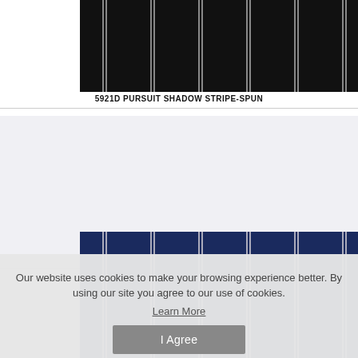[Figure (photo): Black fabric with thin light grey vertical stripes, showing a shadow stripe spun textile pattern]
5921D PURSUIT SHADOW STRIPE-SPUN
[Figure (photo): Navy blue fabric with thin light grey vertical stripes, showing a similar shadow stripe pattern]
Our website uses cookies to make your browsing experience better. By using our site you agree to our use of cookies.
Learn More
I Agree